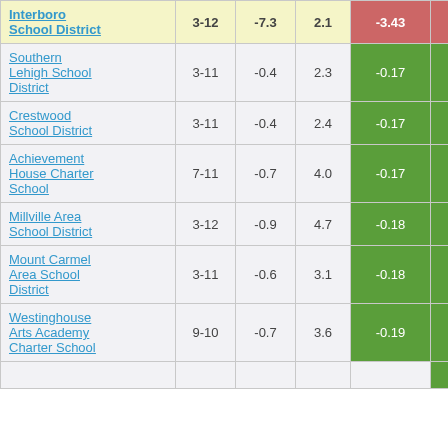| School/District | Grades | Col3 | Col4 | Col5 |
| --- | --- | --- | --- | --- |
| Interboro School District | 3-12 | -7.3 | 2.1 | -3.43 |
| Southern Lehigh School District | 3-11 | -0.4 | 2.3 | -0.17 |
| Crestwood School District | 3-11 | -0.4 | 2.4 | -0.17 |
| Achievement House Charter School | 7-11 | -0.7 | 4.0 | -0.17 |
| Millville Area School District | 3-12 | -0.9 | 4.7 | -0.18 |
| Mount Carmel Area School District | 3-11 | -0.6 | 3.1 | -0.18 |
| Westinghouse Arts Academy Charter School | 9-10 | -0.7 | 3.6 | -0.19 |